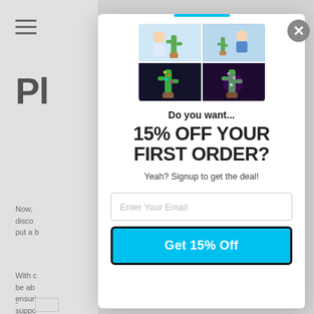[Figure (screenshot): Background webpage partially visible behind modal, showing hamburger menu icon, large bold 'PI' text heading, and partial body text paragraphs]
[Figure (photo): 2x2 grid of product photos showing dancing cactus toys: baby with cactus (top-left), person at table with cactus (top-right), dark background cactus with lights (bottom-left), purple-lit cactus (bottom-right)]
Do you want...
15% OFF YOUR FIRST ORDER?
Yeah? Signup to get the deal!
Enter Your Email
Get 15% Off